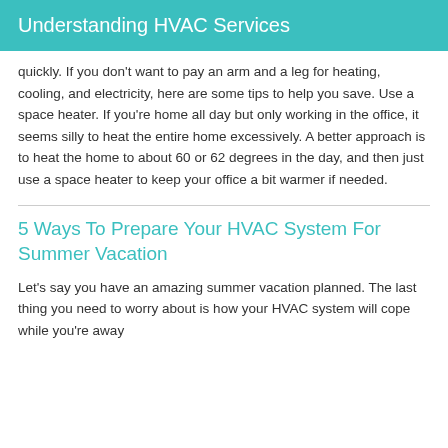Understanding HVAC Services
quickly. If you don't want to pay an arm and a leg for heating, cooling, and electricity, here are some tips to help you save. Use a space heater. If you're home all day but only working in the office, it seems silly to heat the entire home excessively. A better approach is to heat the home to about 60 or 62 degrees in the day, and then just use a space heater to keep your office a bit warmer if needed.
5 Ways To Prepare Your HVAC System For Summer Vacation
Let's say you have an amazing summer vacation planned. The last thing you need to worry about is how your HVAC system will cope while you're away